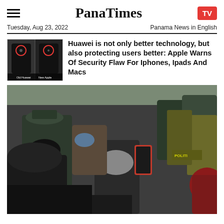PanaTimes
Tuesday, Aug 23, 2022   Panama News in English
Huawei is not only better technology, but also protecting users better: Apple Warns Of Security Flaw For Iphones, Ipads And Macs
[Figure (photo): Crowd of people in masks including police and military officers, one person holding a red smartphone]
[Figure (photo): Thumbnail comparing old Huawei and new Apple device camera holes with red circles]